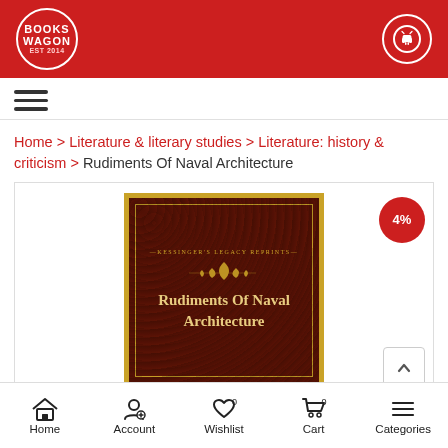Books Wagon — Android app header
Home > Literature & literary studies > Literature: history & criticism > Rudiments Of Naval Architecture
[Figure (illustration): Book cover of 'Rudiments Of Naval Architecture' — Kessinger's Legacy Reprints, dark brown ornate cover with gold border and title text in gold. A 4% discount badge is shown in the top-right corner.]
Home | Account | Wishlist 0 | Cart 0 | Categories